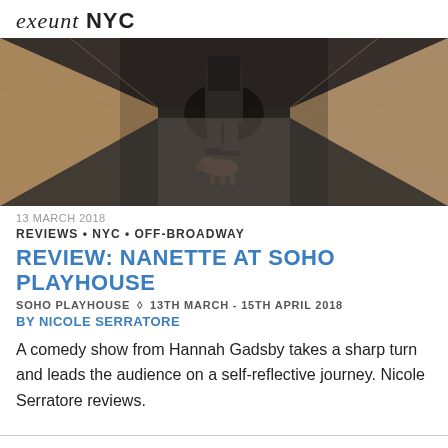exeunt NYC
[Figure (photo): A dark corridor/hallway scene showing a person walking with a small dog, viewed from behind. The hallway has white walls and a dark carpet.]
13 MARCH 2018
REVIEWS • NYC • OFF-BROADWAY
REVIEW: NANETTE AT SOHO PLAYHOUSE
SOHO PLAYHOUSE ◇ 13TH MARCH - 15TH APRIL 2018
BY NICOLE SERRATORE
A comedy show from Hannah Gadsby takes a sharp turn and leads the audience on a self-reflective journey. Nicole Serratore reviews.